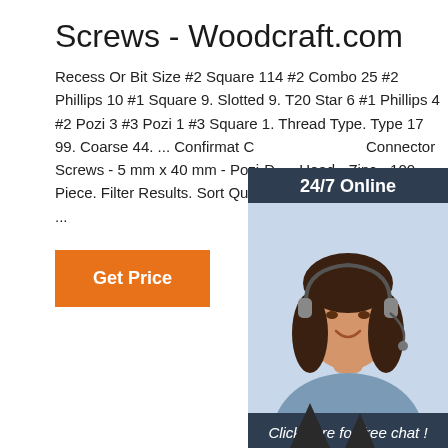Screws - Woodcraft.com
Recess Or Bit Size #2 Square 114 #2 Combo 25 #2 Phillips 10 #1 Square 9. Slotted 9. T20 Star 6 #1 Phillips 4 #2 Pozi 3 #3 Pozi 1 #3 Square 1. Thread Type. Type 17 99. Coarse 44. ... Confirmat Connector Screws - 5 mm x 40 mm - Pozi-Drive Head - Zinc - 100 Piece. Filter Results. Sort Quick View. Item 630104. Model ...
[Figure (illustration): Chat widget with woman wearing headset, '24/7 Online' header, 'Click here for free chat!' text, and orange QUOTATION button]
[Figure (illustration): Decorative silhouette of pine trees at bottom center of page]